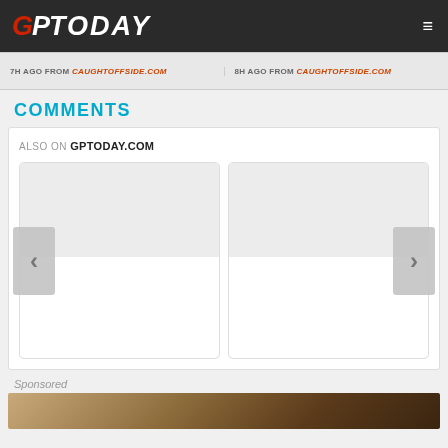GP TODAY
7H AGO FROM CAUGHTOFFSIDE.COM | 8H AGO FROM CAUGHTOFFSIDE.COM
COMMENTS
ALSO ON GPTODAY.COM
[Figure (screenshot): Disqus comments widget showing 'Also On GPTODAY.COM' section with two content cards and navigation arrows, plus a Sponsored section at bottom]
Sponsored